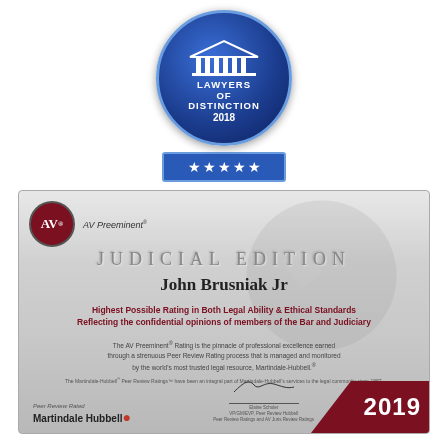[Figure (logo): Lawyers of Distinction 2018 circular badge with pillared building icon, dark blue background, five-star bar below]
[Figure (illustration): AV Preeminent Judicial Edition certificate for John Brusniak Jr, Martindale-Hubbell 2019, highest possible rating in both legal ability and ethical standards]